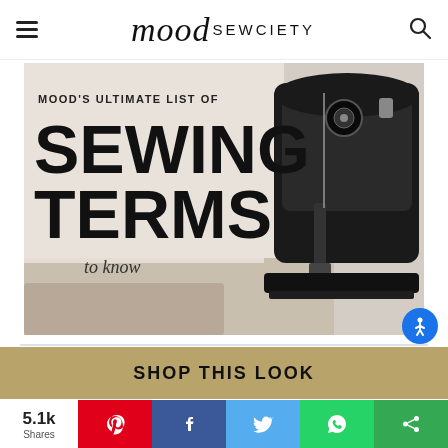mood SEWCIETY
[Figure (infographic): Mood's Ultimate List of Sewing Terms to know — promotional image with a vintage black sewing machine on the right side against a light background, with bold text overlay reading 'SEWING TERMS to know']
SHOP THIS LOOK
5.1k Shares